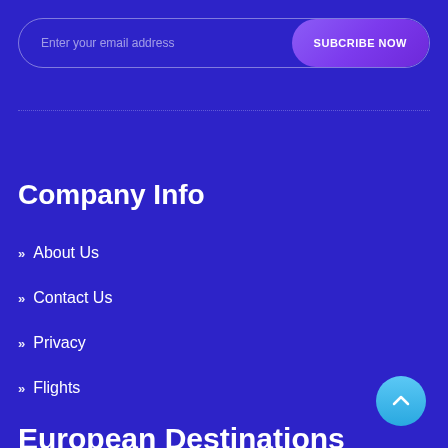Enter your email address
SUBCRIBE NOW
Company Info
>> About Us
>> Contact Us
>> Privacy
>> Flights
European Destinations